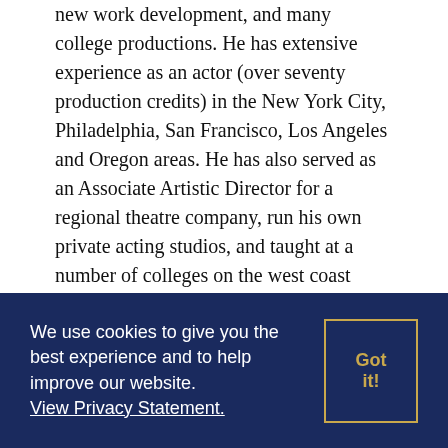new work development, and many college productions. He has extensive experience as an actor (over seventy production credits) in the New York City, Philadelphia, San Francisco, Los Angeles and Oregon areas. He has also served as an Associate Artistic Director for a regional theatre company, run his own private acting studios, and taught at a number of colleges on the west coast before coming to Kent State. Brian is a member of the Stage Directors and Choreographers Society (SDC) and received his M.F.A. in Directing from the University of California, Irvine.
We use cookies to give you the best experience and to help improve our website. View Privacy Statement.